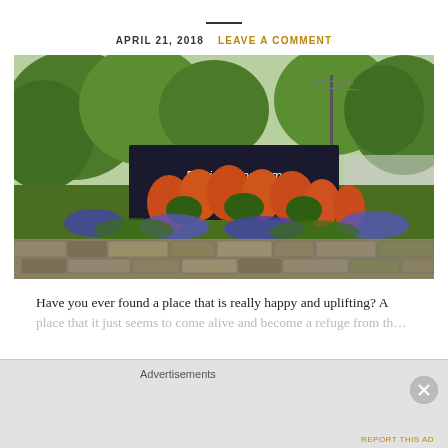APRIL 21, 2018  LEAVE A COMMENT
[Figure (photo): Entrance sign for Davis Arboretum surrounded by orange and purple flowering plants and green trees, with a stone retaining wall in the foreground.]
Have you ever found a place that is really happy and uplifting? A place that…
Advertisements